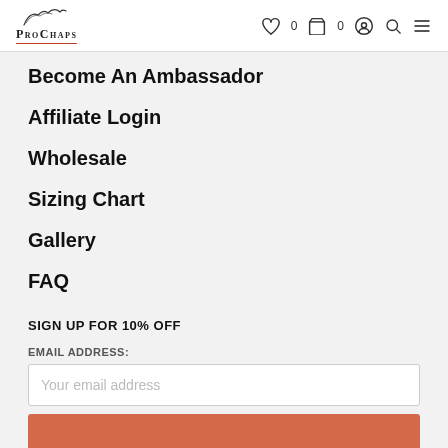ProChaps — navigation header with logo, wishlist (0), cart (0), account, search, and menu icons
Become An Ambassador
Affiliate Login
Wholesale
Sizing Chart
Gallery
FAQ
SIGN UP FOR 10% OFF
EMAIL ADDRESS:
Your email address